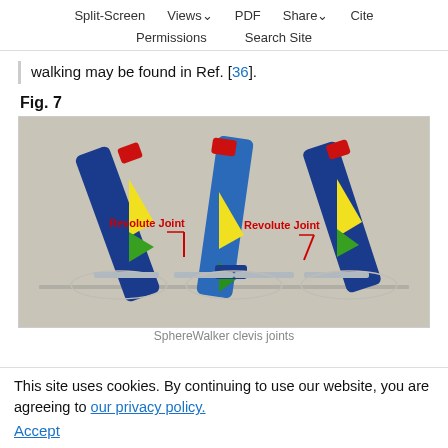Split-Screen  Views  PDF  Share  Cite  Permissions  Search Site
walking may be found in Ref. [36].
Fig. 7
[Figure (engineering-diagram): 3D CAD rendering of SphereWalker clevis joints showing three leg assemblies with blue structural members, yellow wedge components, green elements, and red actuator tops. Two 'Revolute Joint' labels with red pointer lines indicate the joint locations between legs.]
SphereWalker clevis joints
This site uses cookies. By continuing to use our website, you are agreeing to our privacy policy. Accept